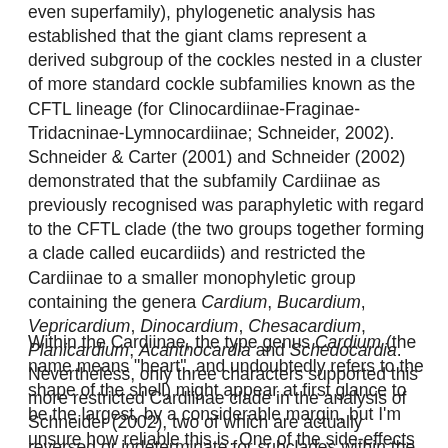even superfamily), phylogenetic analysis has established that the giant clams represent a derived subgroup of the cockles nested in a cluster of more standard cockle subfamilies known as the CFTL lineage (for Clinocardiinae-Fraginae-Tridacninae-Lymnocardiinae; Schneider, 2002). Schneider & Carter (2001) and Schneider (2002) demonstrated that the subfamily Cardiinae as previously recognised was paraphyletic with regard to the CFTL clade (the two groups together forming a clade called eucardiids) and restricted the Cardiinae to a smaller monophyletic group containing the genera Cardium, Bucardium, Vepricardium, Dinocardium, Chesacardium, Planicardium, Acanthocardia and Schedocardia. Nevertheless, only three characters supported this more restricted Cardiinae clade in the analysis of Schneider (2002), two of which are actually reversed or indeterminate for subclades within the Cardiinae.
Within the Cardiinae, the type genus Cardium (the name means "heart", and undoubtedly refers to the shape of the shell) might appear at first glance to be the largest, by a considerable margin, but I'm unsure how reliable this is. One of the side-effects of the aforementioned tendency towards